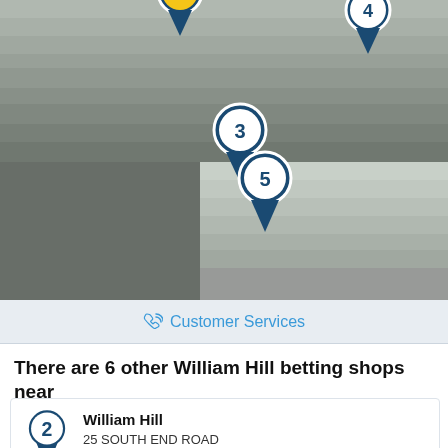[Figure (map): A map screenshot showing location pins numbered 3, 4, and 5 on a grey map background representing William Hill betting shop locations nearby.]
Customer Services
There are 6 other William Hill betting shops near
[Figure (other): Map pin icon with number 2 indicating William Hill location]
William Hill
25 SOUTH END ROAD
LONDON, NW3 2PT
Distance: 0.55 miles
View the shop details